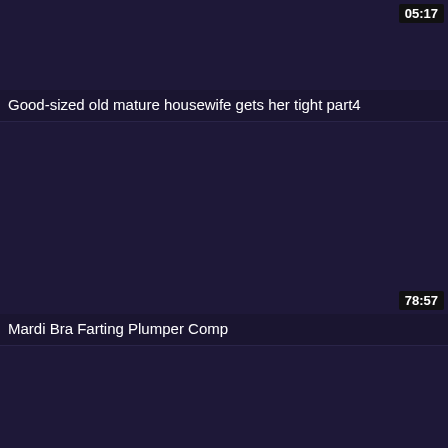[Figure (screenshot): Dark navy/purple video thumbnail, nearly blank]
05:17
Good-sized old mature housewife gets her tight part4
[Figure (screenshot): Dark navy/purple video thumbnail, nearly blank]
78:57
Mardi Bra Farting Plumper Comp
[Figure (screenshot): Dark navy/purple video thumbnail, nearly blank, bottom section]